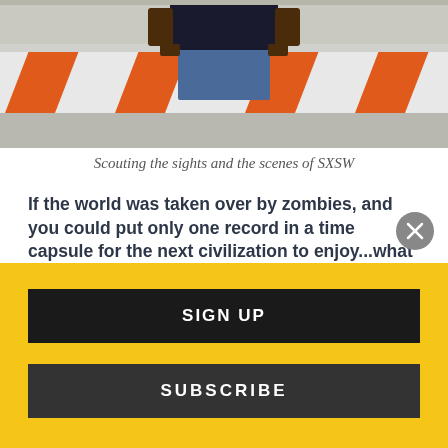[Figure (photo): Person standing in front of orange and white construction barriers/barricades on a street]
Scouting the sights and the scenes of SXSW
If the world was taken over by zombies, and you could put only one record in a time capsule for the next civilization to enjoy...what would it be?
I think about things like this all the time, wow.
It'd change with my mood and music faves of the moment, I'd say. Currently, I'd pick Hi+Lo by The Lemon Twigs. If I had to choose a song to play during the
SIGN UP
SUBSCRIBE